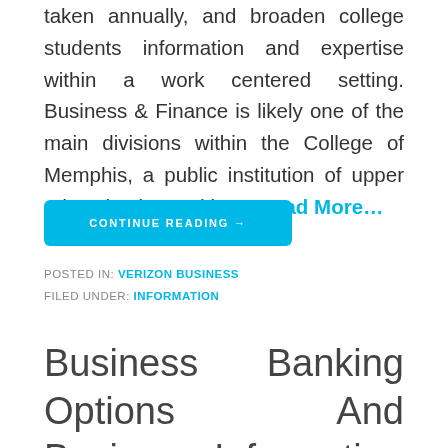taken annually, and broaden college students information and expertise within a work centered setting. Business & Finance is likely one of the main divisions within the College of Memphis, a public institution of upper education located in … Read More…
CONTINUE READING →
POSTED IN: VERIZON BUSINESS
FILED UNDER: INFORMATION
Business Banking Options And Business Information L Chase For Business